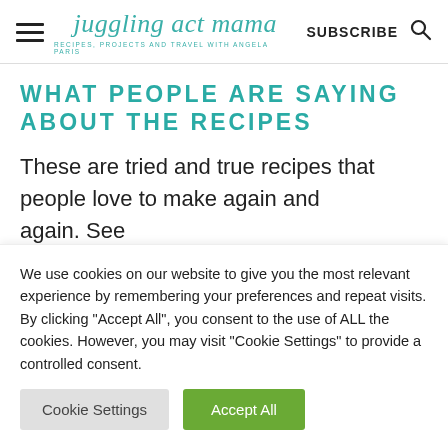juggling act mama — RECIPES, PROJECTS AND TRAVEL WITH ANGELA PARIS | SUBSCRIBE
WHAT PEOPLE ARE SAYING ABOUT THE RECIPES
These are tried and true recipes that people love to make again and again. See
We use cookies on our website to give you the most relevant experience by remembering your preferences and repeat visits. By clicking "Accept All", you consent to the use of ALL the cookies. However, you may visit "Cookie Settings" to provide a controlled consent.